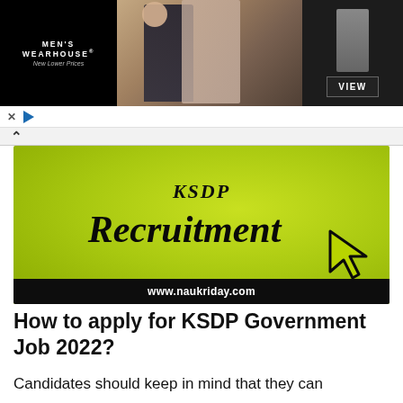[Figure (photo): Men's Wearhouse advertisement banner showing a couple in formal wear and a man in a grey suit with a VIEW button]
[Figure (illustration): KSDP Recruitment banner image on a green/yellow gradient background with bold italic text 'KSDP' and 'Recruitment' with a cursor arrow icon, and www.naukriday.com in the footer]
How to apply for KSDP Government Job 2022?
Candidates should keep in mind that they can